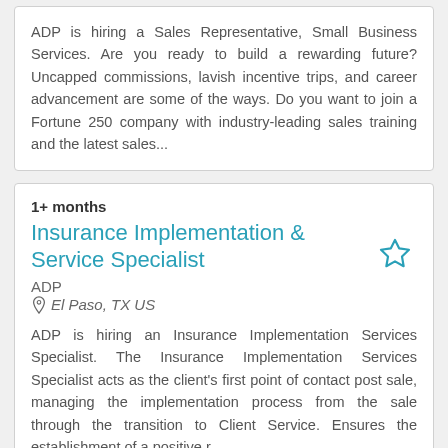ADP is hiring a Sales Representative, Small Business Services. Are you ready to build a rewarding future? Uncapped commissions, lavish incentive trips, and career advancement are some of the ways. Do you want to join a Fortune 250 company with industry-leading sales training and the latest sales...
1+ months
Insurance Implementation & Service Specialist
ADP
El Paso, TX US
ADP is hiring an Insurance Implementation Services Specialist. The Insurance Implementation Services Specialist acts as the client's first point of contact post sale, managing the implementation process from the sale through the transition to Client Service. Ensures the establishment of a positive r...
1+ months